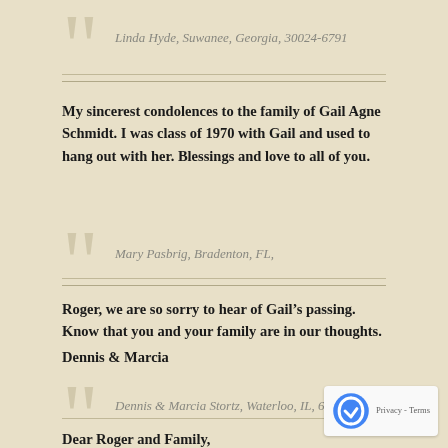Linda Hyde, Suwanee, Georgia, 30024-6791
My sincerest condolences to the family of Gail Agne Schmidt. I was class of 1970 with Gail and used to hang out with her. Blessings and love to all of you.
Mary Pasbrig, Bradenton, FL,
Roger, we are so sorry to hear of Gail’s passing. Know that you and your family are in our thoughts.
Dennis & Marcia
Dennis & Marcia Stortz, Waterloo, IL, 62298
Dear Roger and Family,
I am so sorry to hear of your loss of Gail. What comfort comes to